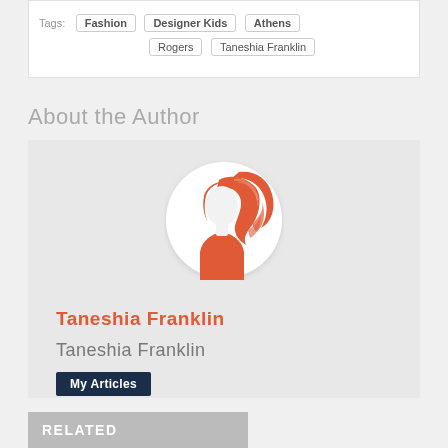Tags: Fashion  Designer Kids  Athens  Rogers  Taneshia Franklin
About the Author
[Figure (illustration): Circular avatar with orange illustration of a woman's profile with flowing hair on a white background]
Taneshia Franklin
Taneshia Franklin
My Articles
RELATED